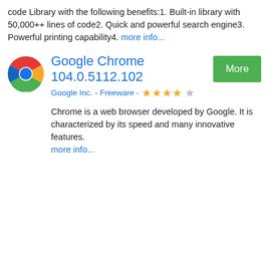code Library with the following benefits:1. Built-in library with 50,000++ lines of code2. Quick and powerful search engine3. Powerful printing capability4. more info...
[Figure (logo): Google Chrome circular logo icon with red, yellow, green and blue colors]
Google Chrome 104.0.5112.102
Google Inc. - Freeware - ★★★★☆
Chrome is a web browser developed by Google. It is characterized by its speed and many innovative features. more info...